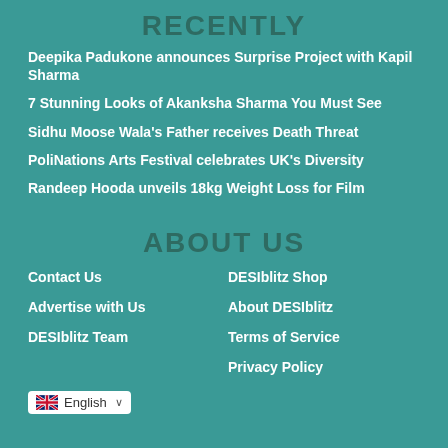RECENTLY
Deepika Padukone announces Surprise Project with Kapil Sharma
7 Stunning Looks of Akanksha Sharma You Must See
Sidhu Moose Wala's Father receives Death Threat
PoliNations Arts Festival celebrates UK's Diversity
Randeep Hooda unveils 18kg Weight Loss for Film
ABOUT US
Contact Us
Advertise with Us
DESIblitz Team
DESIblitz Shop
About DESIblitz
Terms of Service
Privacy Policy
English